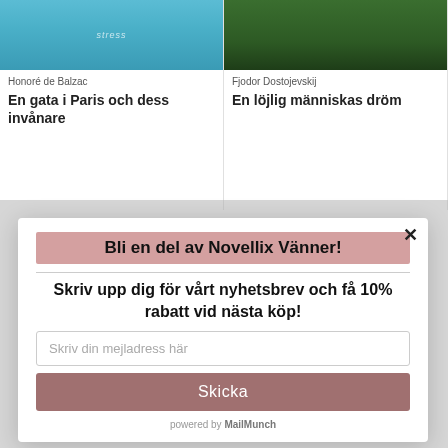[Figure (screenshot): Book card for 'En gata i Paris och dess invånare' by Honoré de Balzac with a blue cover image]
Honoré de Balzac
En gata i Paris och dess invånare
[Figure (screenshot): Book card for 'En löjlig människas dröm' by Fjodor Dostojevskij with a dark green cover image]
Fjodor Dostojevskij
En löjlig människas dröm
Bli en del av Novellix Vänner!
Skriv upp dig för vårt nyhetsbrev och få 10% rabatt vid nästa köp!
Skriv din mejladress här
Skicka
powered by MailMunch